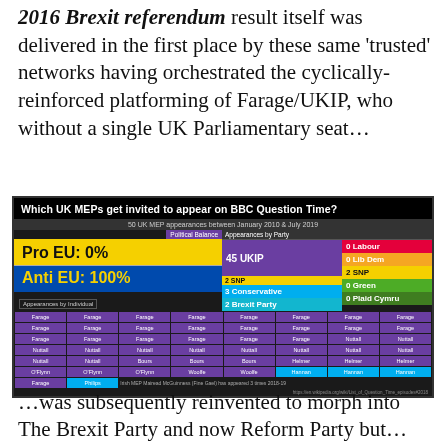2016 Brexit referendum result itself was delivered in the first place by these same 'trusted' networks having orchestrated the cyclically-reinforced platforming of Farage/UKIP, who without a single UK Parliamentary seat…
[Figure (infographic): Infographic titled 'Which UK MEPs get invited to appear on BBC Question Time?' showing 50 UK MEP appearances between January 2010 & July 2019. Shows Pro EU: 0% and Anti EU: 100% political balance. Appearances by party: 45 UKIP, 3 Conservative, 2 Brexit Party, 0 Labour, 0 Lib Dem, 2 SNP, 0 Green, 0 Plaid Cymru. Grid of individual appearances mostly showing Farage, Nuttall, Bours, Helmer, O'Flynn, Woolfe, Hannan, Philips.]
…was subsequently reinvented to morph into The Brexit Party and now Reform Party but…